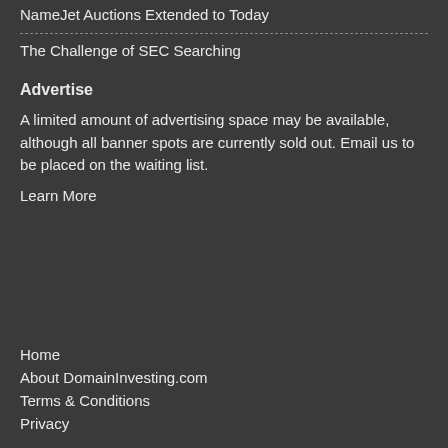NameJet Auctions Extended to Today
The Challenge of SEC Searching
Advertise
A limited amount of advertising space may be available, although all banner spots are currently sold out. Email us to be placed on the waiting list.
Learn More
Home
About DomainInvesting.com
Terms & Conditions
Privacy